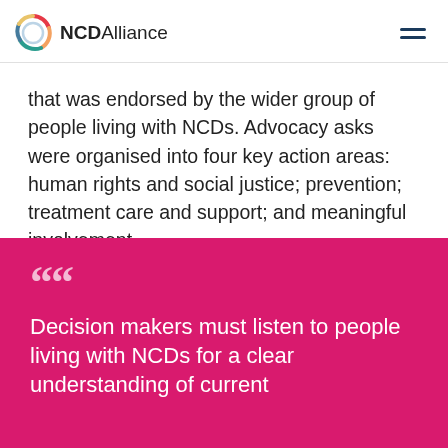NCD Alliance
that was endorsed by the wider group of people living with NCDs. Advocacy asks were organised into four key action areas: human rights and social justice; prevention; treatment care and support; and meaningful involvement.
““ Decision makers must listen to people living with NCDs for a clear understanding of current